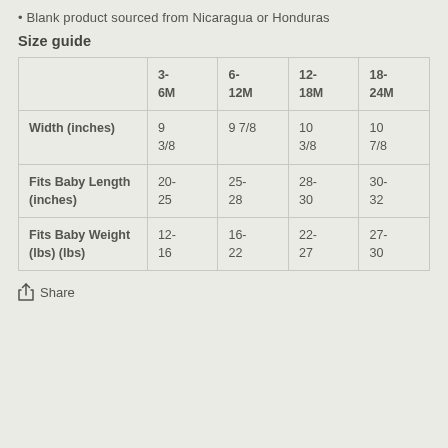Blank product sourced from Nicaragua or Honduras
Size guide
|  | 3-6M | 6-12M | 12-18M | 18-24M |
| --- | --- | --- | --- | --- |
| Width (inches) | 9 3/8 | 9 7/8 | 10 3/8 | 10 7/8 |
| Fits Baby Length (inches) | 20-25 | 25-28 | 28-30 | 30-32 |
| Fits Baby Weight (lbs) (lbs) | 12-16 | 16-22 | 22-27 | 27-30 |
Share